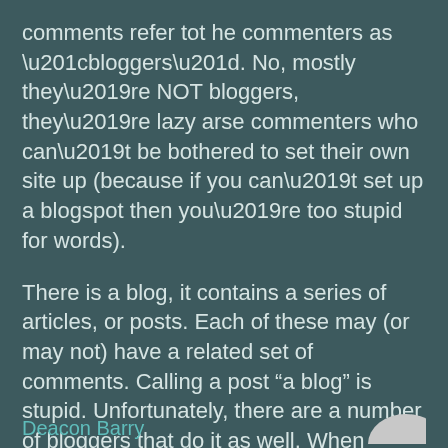comments refer tot he commenters as “bloggers”. No, mostly they’re NOT bloggers, they’re lazy arse commenters who can’t be bothered to set their own site up (because if you can’t set up a blogspot then you’re too stupid for words).
There is a blog, it contains a series of articles, or posts. Each of these may (or may not) have a related set of comments. Calling a post “a blog” is stupid. Unfortunately, there are a number of bloggers that do it as well. When someone says “I blogged about” then I deal, but when they say “my blog on”, then I cringe.
Deacon Barry